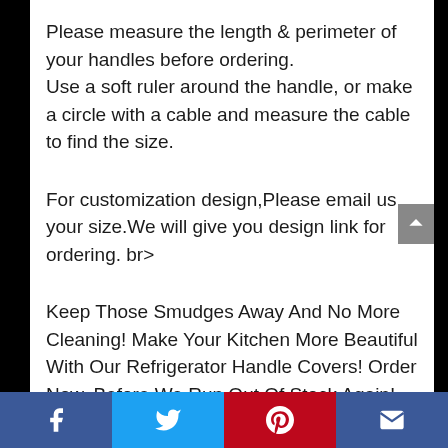Please measure the length & perimeter of your handles before ordering.
Use a soft ruler around the handle, or make a circle with a cable and measure the cable to find the size.
For customization design,Please email us your size.We will give you design link for ordering. br>
Keep Those Smudges Away And No More Cleaning! Make Your Kitchen More Beautiful With Our Refrigerator Handle Covers! Order Now, Before We Run Out Of Stock Again!
Facebook | Twitter | Pinterest | Email